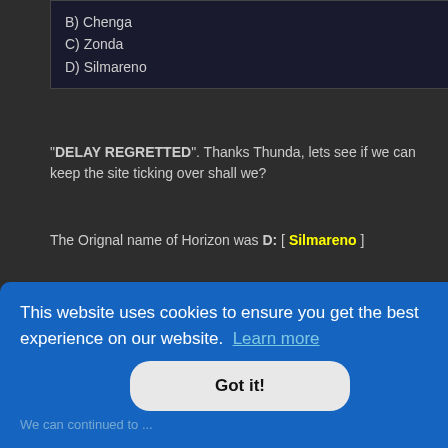B) Chenga
C) Zonda
D) Silmareno
"DELAY REGRETTED". Thanks Thunda, lets see if we can keep the site ticking over shall we?
The Orignal name of Horizon was D: [ Silmareno ]
Next question then -
Which of these made Dorian's teeth itch?
A: Avon pointing a Scorpio clip gun at him
B: Avon pointing a Liberator gun at him
C: Avon pointing a Federation blaster at him
D: Tarrant pointing a Scorpio clip gun at him
This website uses cookies to ensure you get the best experience on our website. Learn more
Got it!